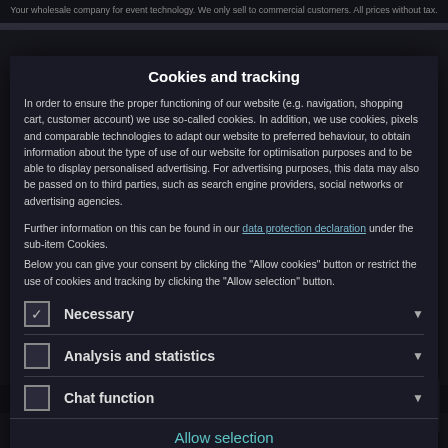Your wholesale company for event technology. We only sell to commercial customers. All prices without tax.
Cookies and tracking
In order to ensure the proper functioning of our website (e.g. navigation, shopping cart, customer account) we use so-called cookies. In addition, we use cookies, pixels and comparable technologies to adapt our website to preferred behaviour, to obtain information about the type of use of our website for optimisation purposes and to be able to display personalised advertising. For advertising purposes, this data may also be passed on to third parties, such as search engine providers, social networks or advertising agencies.
Further information on this can be found in our data protection declaration under the sub-item Cookies.
Below you can give your consent by clicking the "Allow cookies" button or restrict the use of cookies and tracking by clicking the "Allow selection" button.
Necessary
Analysis and statistics
Chat function
Allow selection
Allow Cookies